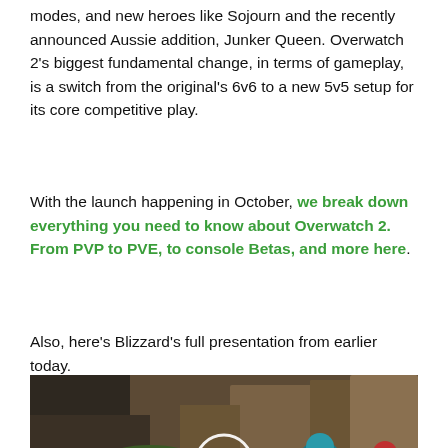modes, and new heroes like Sojourn and the recently announced Aussie addition, Junker Queen. Overwatch 2's biggest fundamental change, in terms of gameplay, is a switch from the original's 6v6 to a new 5v5 setup for its core competitive play.
With the launch happening in October, we break down everything you need to know about Overwatch 2. From PVP to PVE, to console Betas, and more here.
Also, here's Blizzard's full presentation from earlier today.
[Figure (screenshot): Overwatch 2 Reveal Event video thumbnail showing game characters in action with the Overwatch 2 logo and a play button overlay.]